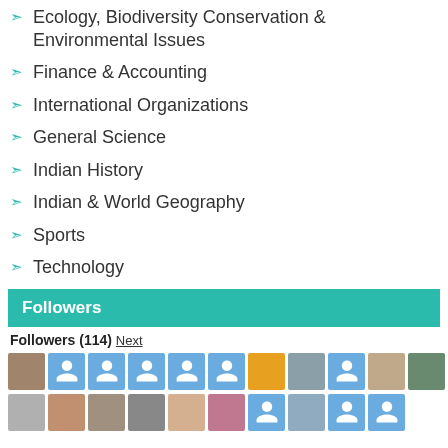Ecology, Biodiversity Conservation & Environmental Issues
Finance & Accounting
International Organizations
General Science
Indian History
Indian & World Geography
Sports
Technology
Followers
Followers (114) Next